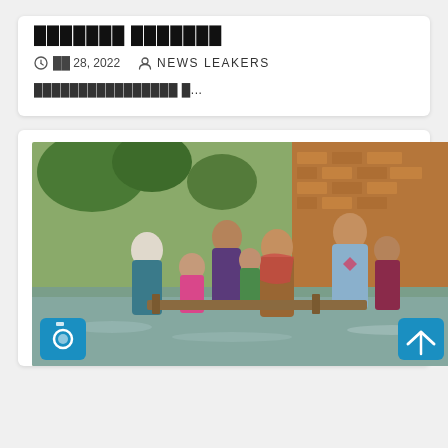███████ ███████
🕐 ██ 28, 2022   👤 NEWS LEAKERS
████████████████ █...
[Figure (photo): People wading through floodwater in a flooded street, carrying belongings on a makeshift raft. Adults and children visible, brick wall on the right side, green trees in background.]